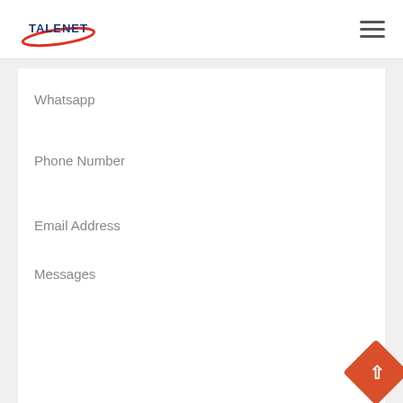TALENET
Whatsapp
Phone Number
Email Address
Messages